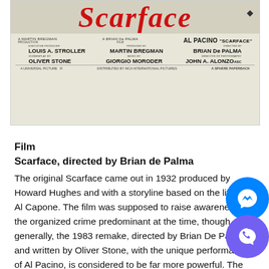[Figure (photo): Scarface movie poster showing title in red italic script, producer/director/actor credits including Martin Bregman, Brian De Palma, Al Pacino, Louis A. Stroller, Giorgio Moroder, Oliver Stone, John A. Alonzo. A Sphere Paperback.]
Film
Scarface, directed by Brian de Palma
The original Scarface came out in 1932 produced by Howard Hughes and with a storyline based on the life of Al Capone. The film was supposed to raise awareness on the organized crime predominant at the time, though, generally, the 1983 remake, directed by Brian De Palma and written by Oliver Stone, with the unique performance of Al Pacino, is considered to be far more powerful. The story follows the rise and fall of gangster Tony Montana, a poor Cuban migrant who arrives in Florida and starts a career in crime. Despite the mistakes they make with his